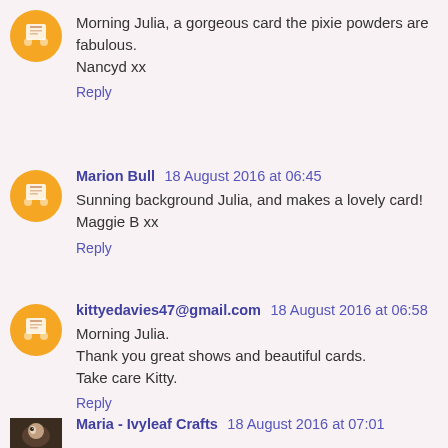Morning Julia, a gorgeous card the pixie powders are fabulous. Nancyd xx
Reply
Marion Bull  18 August 2016 at 06:45
Sunning background Julia, and makes a lovely card! Maggie B xx
Reply
kittyedavies47@gmail.com  18 August 2016 at 06:58
Morning Julia. Thank you great shows and beautiful cards. Take care Kitty.
Reply
Maria - Ivyleaf Crafts  18 August 2016 at 07:01